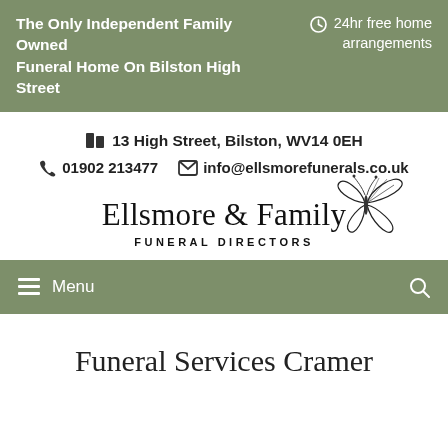The Only Independent Family Owned Funeral Home On Bilston High Street | 24hr free home arrangements
13 High Street, Bilston, WV14 0EH
01902 213477   info@ellsmorefunerals.co.uk
[Figure (logo): Ellsmore & Family Funeral Directors logo with butterfly illustration]
Menu
Funeral Services Cramer